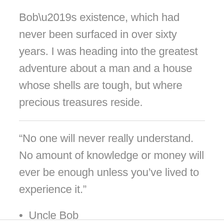Bob’s existence, which had never been surfaced in over sixty years. I was heading into the greatest adventure about a man and a house whose shells are tough, but where precious treasures reside.
“No one will never really understand. No amount of knowledge or money will ever be enough unless you’ve lived to experience it.”
Uncle Bob